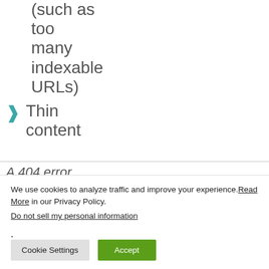(such as too many indexable URLs)
Thin content
A 404 error
We use cookies to analyze traffic and improve your experience. Read More in our Privacy Policy.
Do not sell my personal information.